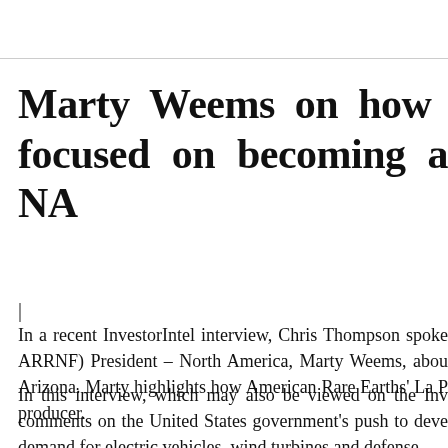Marty Weems on how focused on becoming a NA
| In a recent InvestorIntel interview, Chris Thompson spoke ARRNF) President – North America, Marty Weems, about Arizona. Marty highlights how American Rare Earths' La P producer.
In this interview, which may also be viewed on the Inv comments on the United States government's push to deve demand for electric vehicles, wind turbines and defense